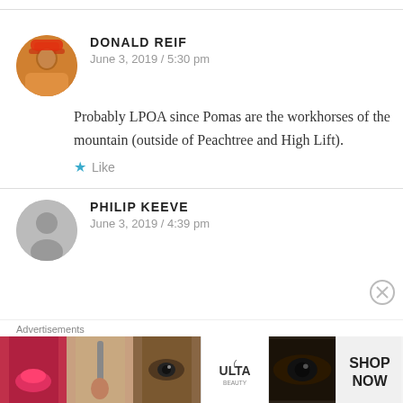DONALD REIF
June 3, 2019 / 5:30 pm
Probably LPOA since Pomas are the workhorses of the mountain (outside of Peachtree and High Lift).
Like
PHILIP KEEVE
June 3, 2019 / 4:39 pm
Advertisements